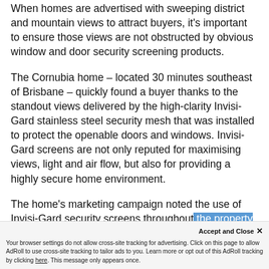When homes are advertised with sweeping district and mountain views to attract buyers, it's important to ensure those views are not obstructed by obvious window and door security screening products.
The Cornubia home – located 30 minutes southeast of Brisbane – quickly found a buyer thanks to the standout views delivered by the high-clarity Invisi-Gard stainless steel security mesh that was installed to protect the openable doors and windows. Invisi-Gard screens are not only reputed for maximising views, light and air flow, but also for providing a highly secure home environment.
The home's marketing campaign noted the use of Invisi-Gard security screens throughout the property as a desirable selling feature. Installed Invisi-Gard screens add immense value without...
Your browser settings do not allow cross-site tracking for advertising. Click on this page to allow AdRoll to use cross-site tracking to tailor ads to you. Learn more or opt out of this AdRoll tracking by clicking here. This message only appears once.